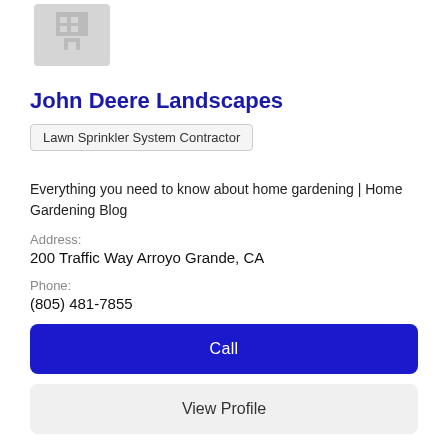[Figure (illustration): Building/office placeholder icon, gray, top of page (partially cropped)]
John Deere Landscapes
Lawn Sprinkler System Contractor
Everything you need to know about home gardening | Home Gardening Blog
Address:
200 Traffic Way Arroyo Grande, CA
Phone:
(805) 481-7855
Call
View Profile
[Figure (illustration): Building/office placeholder icon, gray, bottom of page]